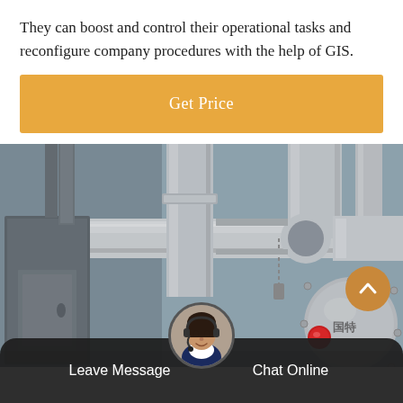They can boost and control their operational tasks and reconfigure company procedures with the help of GIS.
[Figure (other): Orange button bar with text 'Get Price']
[Figure (photo): Industrial pipeline and equipment scene showing large metal pipes, valves, and machinery in a gas or utility facility. A red indicator dot is visible on a spherical valve component. A scroll-up arrow button is overlaid at bottom right.]
[Figure (other): Bottom navigation bar with 'Leave Message' on left, a customer service agent avatar in the center, and 'Chat Online' on the right, on a dark semi-transparent background.]